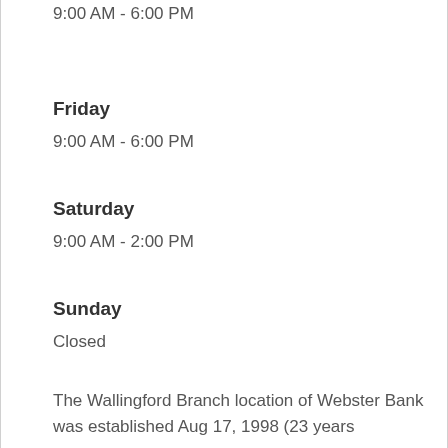9:00 AM - 6:00 PM
Friday
9:00 AM - 6:00 PM
Saturday
9:00 AM - 2:00 PM
Sunday
Closed
The Wallingford Branch location of Webster Bank was established Aug 17, 1998 (23 years